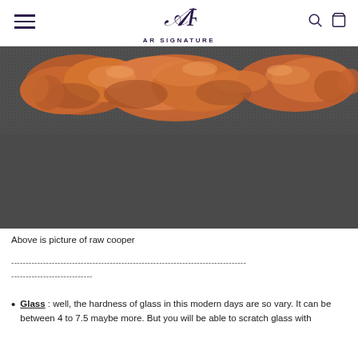AR SIGNATURE
[Figure (photo): Close-up photograph of raw copper nuggets on a dark grey textured fabric background. The copper pieces are reddish-brown, irregular and lumpy in shape, arranged along the top portion of the image.]
Above is picture of raw cooper
---------------------------------------------------------------------------------
----------------------------
Glass : well, the hardness of glass in this modern days are so vary. It can be between 4 to 7.5 maybe more. But you will be able to scratch glass with